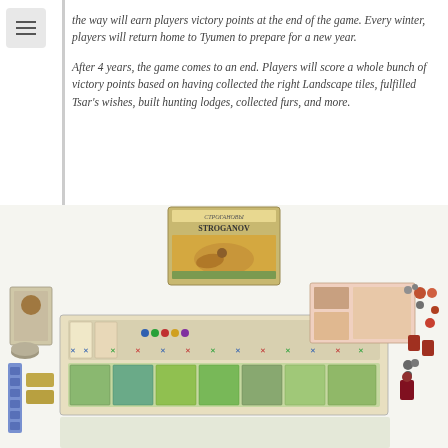the way will earn players victory points at the end of the game. Every winter, players will return home to Tyumen to prepare for a new year.
After 4 years, the game comes to an end. Players will score a whole bunch of victory points based on having collected the right Landscape tiles, fulfilled Tsar's wishes, built hunting lodges, collected furs, and more.
[Figure (photo): Photo of the Stroganov board game box and game components spread out, including game board, cards, tiles, tokens, and miniatures.]